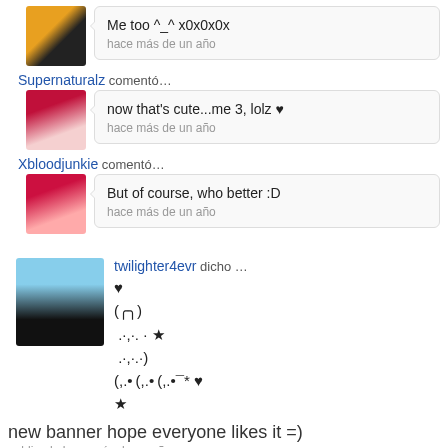Me too ^_^ x0x0x0x
hace más de un año
Supernaturalz comentó…
now that's cute...me 3, lolz ♥
hace más de un año
Xbloodjunkie comentó…
But of course, who better :D
hace más de un año
twilighter4evr dicho …
♥
(╭╮)
.·. · ★
.·. ·)
(,.• (,.• (,.•¯* ♥
★
new banner hope everyone likes it =)
publicado hace más de un año
Supernaturalz comentó…